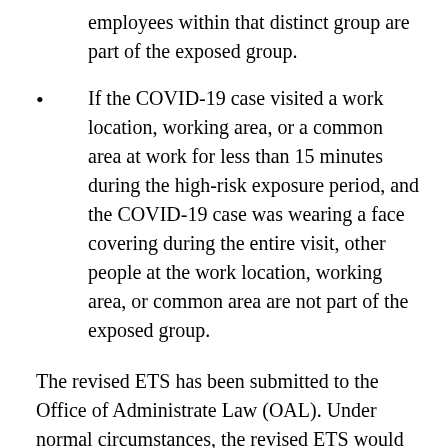employees within that distinct group are part of the exposed group.
If the COVID-19 case visited a work location, working area, or a common area at work for less than 15 minutes during the high-risk exposure period, and the COVID-19 case was wearing a face covering during the entire visit, other people at the work location, working area, or common area are not part of the exposed group.
The revised ETS has been submitted to the Office of Administrate Law (OAL). Under normal circumstances, the revised ETS would not have become effective until June 28 at the earliest. However, Governor Newsom issued an executive order expediting this timeline and directing that the